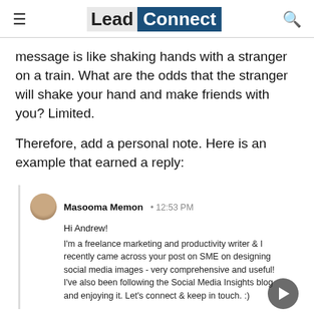Lead Connect
message is like shaking hands with a stranger on a train. What are the odds that the stranger will shake your hand and make friends with you? Limited.
Therefore, add a personal note. Here is an example that earned a reply:
[Figure (screenshot): A LinkedIn message card from Masooma Memon at 12:53 PM reading: Hi Andrew! I'm a freelance marketing and productivity writer & I recently came across your post on SME on designing social media images - very comprehensive and useful! I've also been following the Social Media Insights blog and enjoying it. Let's connect & keep in touch. :)]